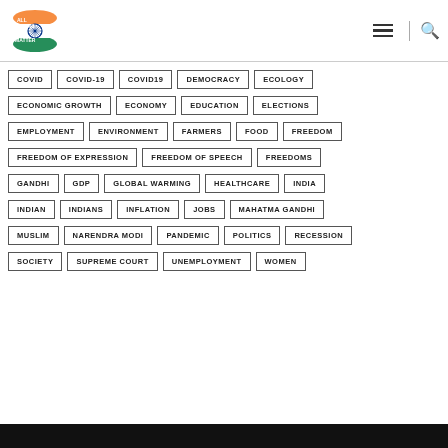[Figure (logo): All Indians Matter logo with Indian flag colors and Ashoka Chakra wheel]
COVID
COVID-19
COVID19
DEMOCRACY
ECOLOGY
ECONOMIC GROWTH
ECONOMY
EDUCATION
ELECTIONS
EMPLOYMENT
ENVIRONMENT
FARMERS
FOOD
FREEDOM
FREEDOM OF EXPRESSION
FREEDOM OF SPEECH
FREEDOMS
GANDHI
GDP
GLOBAL WARMING
HEALTHCARE
INDIA
INDIAN
INDIANS
INFLATION
JOBS
MAHATMA GANDHI
MUSLIM
NARENDRA MODI
PANDEMIC
POLITICS
RECESSION
SOCIETY
SUPREME COURT
UNEMPLOYMENT
WOMEN